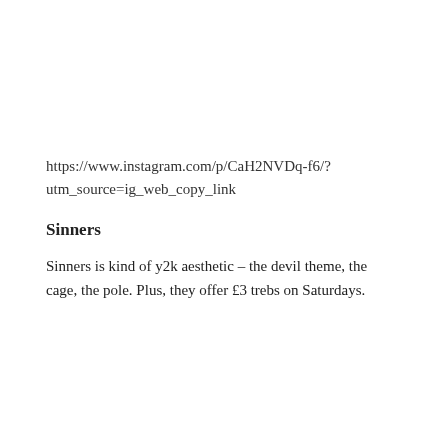https://www.instagram.com/p/CaH2NVDq-f6/?utm_source=ig_web_copy_link
Sinners
Sinners is kind of y2k aesthetic – the devil theme, the cage, the pole. Plus, they offer £3 trebs on Saturdays.